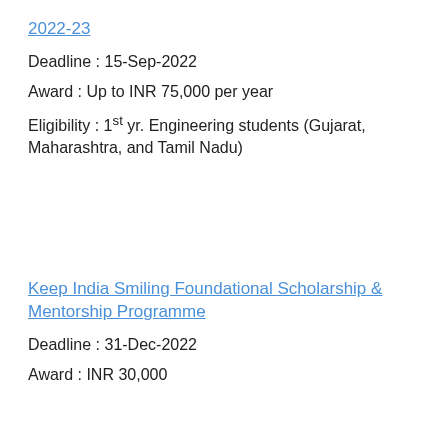2022-23
Deadline : 15-Sep-2022
Award : Up to INR 75,000 per year
Eligibility : 1st yr. Engineering students (Gujarat, Maharashtra, and Tamil Nadu)
Keep India Smiling Foundational Scholarship & Mentorship Programme
Deadline : 31-Dec-2022
Award : INR 30,000